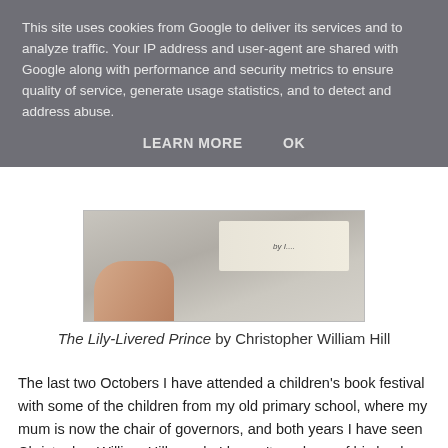This site uses cookies from Google to deliver its services and to analyze traffic. Your IP address and user-agent are shared with Google along with performance and security metrics to ensure quality of service, generate usage statistics, and to detect and address abuse.
LEARN MORE    OK
[Figure (photo): A hand holding a book open, showing a signed page against a light fabric background.]
The Lily-Livered Prince by Christopher William Hill
The last two Octobers I have attended a children's book festival with some of the children from my old primary school, where my mum is now the chair of governors, and both years I have seen Christopher William Hill speak. I haven't read any of his books yet but he is always so funny and engaging with all the children that when, last year, mum asked if I wanted her to buy me any of the books on offer that day and get them signed I immediately chose one of his. When mum asked him to sign it for her daughter and